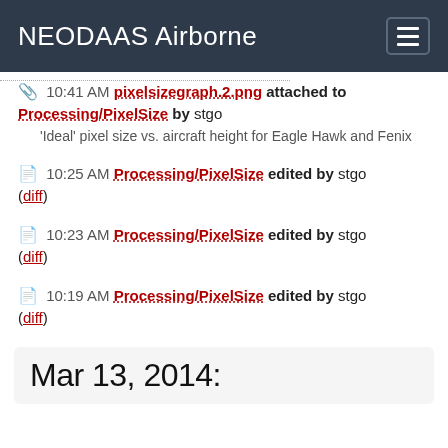NEODAAS Airborne
10:41 AM pixelsizegraph.2.png attached to Processing/PixelSize by stgo — 'Ideal' pixel size vs. aircraft height for Eagle Hawk and Fenix
10:25 AM Processing/PixelSize edited by stgo (diff)
10:23 AM Processing/PixelSize edited by stgo (diff)
10:19 AM Processing/PixelSize edited by stgo (diff)
10:18 AM Processing/PixelSize edited by stgo (diff)
Mar 13, 2014: